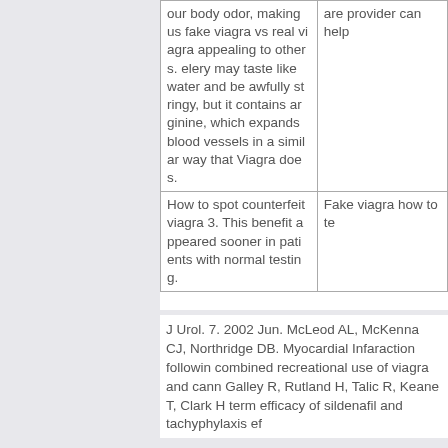| our body odor, making us fake viagra vs real viagra appealing to others. elery may taste like water and be awfully stringy, but it contains arginine, which expands blood vessels in a similar way that Viagra does. | are provider can help |
| How to spot counterfeit viagra 3. This benefit appeared sooner in patients with normal testing. | Fake viagra how to te |
J Urol. 7. 2002 Jun. McLeod AL, McKenna CJ, Northridge DB. Myocardial Infaraction following combined recreational use of viagra and canna Galley R, Rutland H, Talic R, Keane T, Clark H term efficacy of sildenafil and tachyphylaxis eff